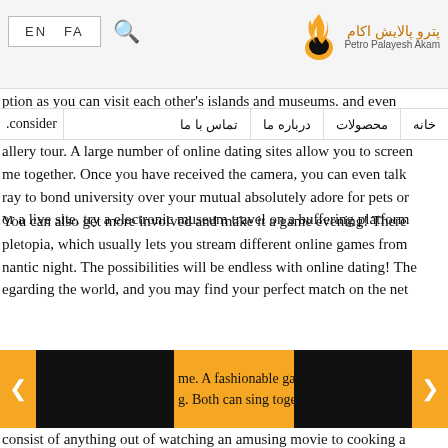EN  FA  🔍  پترو پالایش اکام  Petro Palayesh Akam
خانه  محصولات  درباره ما  تماس با ما
ption as you can visit each other's islands and museums. and even .consider
allery tour. A large number of online dating sites allow you to screen me together. Once you have received the camera, you can even talk ray to bond university over your mutual absolutely adore for pets or or a live site, try a electronic museum travel on a buffering platform
You can also get more involved and make it a game evening! There pletopia, which usually lets you stream different online games from nantic night. The possibilities will be endless with online dating! The regarding the world, and you may find your perfect match on the net
[Figure (photo): Carousel with two black image blocks on orange background, left and right arrows, and partial text in center]
me. A fashionable game on YouT g. Both can sing together when pl consist of anything out of watching an amusing movie to cooking a .delicious meal